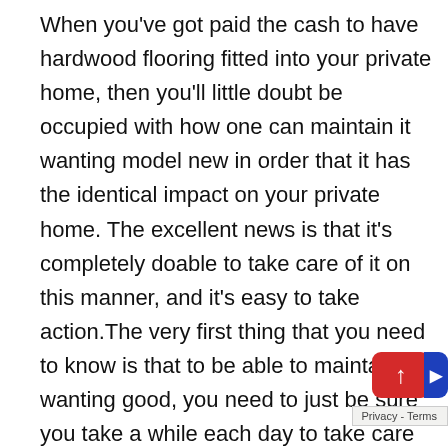When you've got paid the cash to have hardwood flooring fitted into your private home, then you'll little doubt be occupied with how one can maintain it wanting model new in order that it has the identical impact on your private home. The excellent news is that it's completely doable to take care of it on this manner, and it's easy to take action.The very first thing that you need to know is that to be able to maintain it wanting good, you need to just be sure you take a while each day to take care of your flooring. On the very least, you ought to be making an attempt to hoover your flooring each day, as which means that you'll be able to eliminate all the dust that's on the ground. Along with this, it is rather vital that you consider the opposite issues that may injury the ground. The very first thing is daylight. If you realize you've got daylight coming in by way of your windows lots of the day, then you need to attempt drawing the